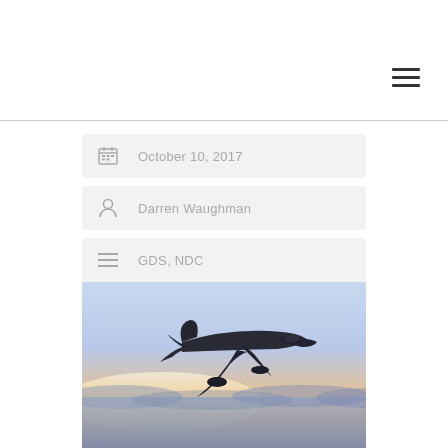[Figure (other): Hamburger menu icon (three horizontal lines) in top right area]
October 10, 2017
Darren Waughman
GDS, NDC
[Figure (photo): Airplane flying above clouds at sunset with orange and blue sky]